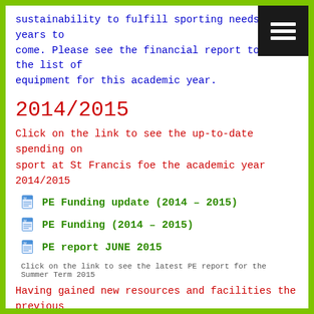sustainability to fulfill sporting needs for years to come. Please see the financial report to see the list of equipment for this academic year.
2014/2015
Click on the link to see the up-to-date spending on sport at St Francis foe the academic year 2014/2015
PE Funding update (2014 – 2015)
PE Funding (2014 – 2015)
PE report JUNE 2015
Click on the link to see the latest PE report for the Summer Term 2015
Having gained new resources and facilities the previous year, our aim was to develop teacher CPD, through